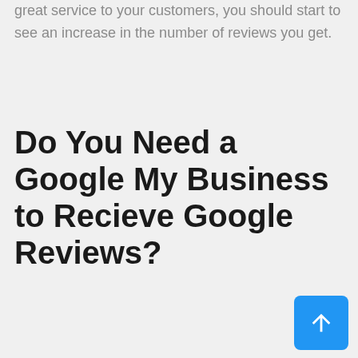great service to your customers, you should start to see an increase in the number of reviews you get.
Do You Need a Google My Business to Recieve Google Reviews?
No, you don't need a Google My Business listing to receive Google reviews. However, having a GMB listing does make it easier for customers to find and leave reviews for your business.